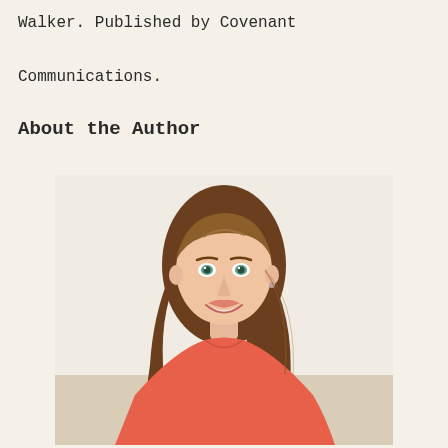Walker. Published by Covenant Communications.
About the Author
[Figure (photo): Author photo: a smiling woman with long brown hair wearing a coral/pink top, photographed against a light outdoor background.]